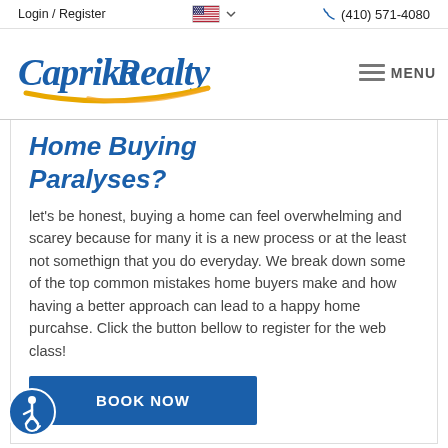Login / Register   🇺🇸 ∨   📞 (410) 571-4080
[Figure (logo): Caprika Realty logo with blue and gold script text and yellow arc swoosh, plus hamburger menu and MENU text]
Home Buying Paralyses?
let's be honest, buying a home can feel overwhelming and scarey because for many it is a new process or at the least not somethign that you do everyday. We break down some of the top common mistakes home buyers make and how having a better approach can lead to a happy home purcahse. Click the button bellow to register for the web class!
[Figure (other): BOOK NOW blue button]
[Figure (other): Accessibility icon - blue circular badge with wheelchair user symbol]